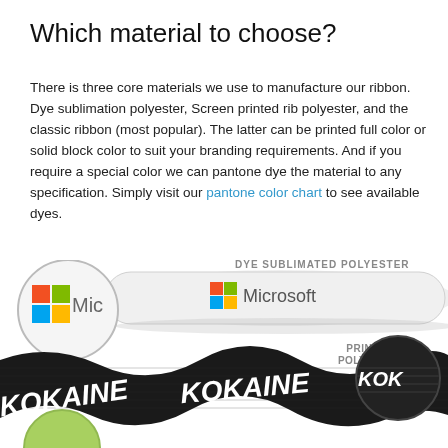Which material to choose?
There is three core materials we use to manufacture our ribbon. Dye sublimation polyester, Screen printed rib polyester, and the classic ribbon (most popular). The latter can be printed full color or solid block color to suit your branding requirements. And if you require a special color we can pantone dye the material to any specification. Simply visit our pantone color chart to see available dyes.
[Figure (photo): Infographic showing two types of ribbon materials. Top section shows a white ribbon with Microsoft logo labeled 'DYE SUBLIMATED POLYESTER', with a circular close-up inset. Bottom section shows a black ribbed ribbon with 'KOKAINE' printed in white letters, labeled 'PRINTED POLYESTER', with a circular close-up inset. A third item partially visible at the bottom.]